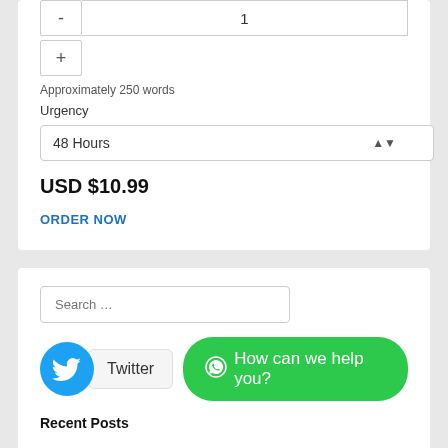-
1
+
Approximately 250 words
Urgency
48 Hours
USD $10.99
ORDER NOW
Search …
Twitter
How can we help you?
Recent Posts